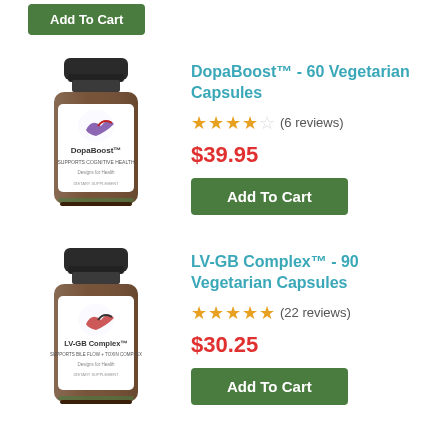[Figure (other): Green 'Add To Cart' button at top of page, partially visible from previous product listing]
[Figure (photo): DopaBoost supplement bottle - dark amber glass bottle with black cap and white label showing DopaBoost brand and 'Supports Cognitive Health' text, Designs for Health logo]
DopaBoost™ - 60 Vegetarian Capsules
★★★★☆ (6 reviews)
$39.95
Add To Cart
[Figure (photo): LV-GB Complex supplement bottle - dark amber glass bottle with black cap and white label showing LV-GB Complex brand and 'Supports Bile Flow + Toxin Complex' text, Designs for Health logo]
LV-GB Complex™ - 90 Vegetarian Capsules
★★★★☆ (22 reviews)
$30.25
Add To Cart